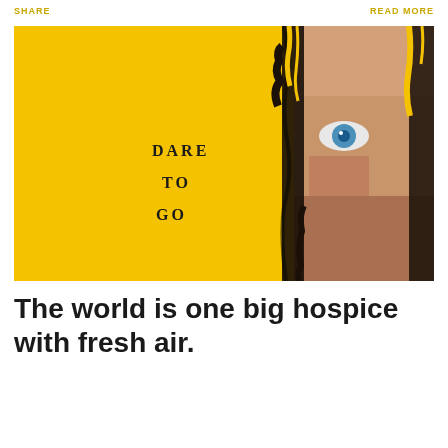SHARE   READ MORE
[Figure (photo): Promotional image with bright yellow background. Left half shows bold text 'DARE', 'TO', 'GO' in dark letters. Right half shows a close-up of a man's face partially obscured by a dark painted vertical stripe, revealing one piercing blue eye. The image has a dramatic, high-contrast style.]
The world is one big hospice with fresh air.